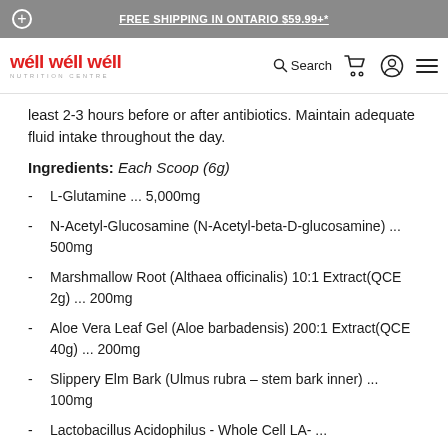FREE SHIPPING IN ONTARIO $59.99+*
[Figure (logo): Well Well Well Nutrition Centre logo in red text]
least 2-3 hours before or after antibiotics. Maintain adequate fluid intake throughout the day.
Ingredients: Each Scoop (6g)
L-Glutamine ... 5,000mg
N-Acetyl-Glucosamine (N-Acetyl-beta-D-glucosamine) ... 500mg
Marshmallow Root (Althaea officinalis) 10:1 Extract(QCE 2g) ... 200mg
Aloe Vera Leaf Gel (Aloe barbadensis) 200:1 Extract(QCE 40g) ... 200mg
Slippery Elm Bark (Ulmus rubra – stem bark inner) ... 100mg
Lactobacillus Acidophilus - Whole Cell LA- ...